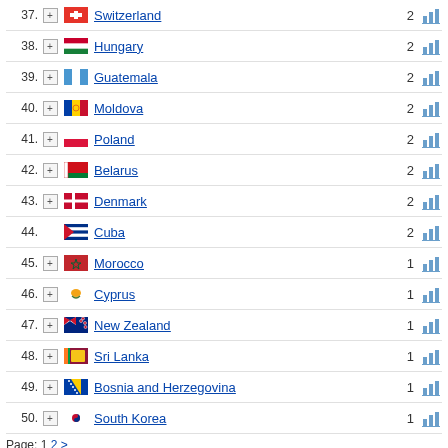| # |  |  | Country | Count |  |
| --- | --- | --- | --- | --- | --- |
| 37. | + | 🇨🇭 | Switzerland | 2 | chart |
| 38. | + | 🇭🇺 | Hungary | 2 | chart |
| 39. | + | 🇬🇹 | Guatemala | 2 | chart |
| 40. | + | 🇲🇩 | Moldova | 2 | chart |
| 41. | + | 🇵🇱 | Poland | 2 | chart |
| 42. | + | 🇧🇾 | Belarus | 2 | chart |
| 43. | + | 🇩🇰 | Denmark | 2 | chart |
| 44. |  | 🇨🇺 | Cuba | 2 | chart |
| 45. | + | 🇲🇦 | Morocco | 1 | chart |
| 46. | + | 🇨🇾 | Cyprus | 1 | chart |
| 47. | + | 🇳🇿 | New Zealand | 1 | chart |
| 48. | + | 🇱🇰 | Sri Lanka | 1 | chart |
| 49. | + | 🇧🇦 | Bosnia and Herzegovina | 1 | chart |
| 50. | + | 🇰🇷 | South Korea | 1 | chart |
Page: 1 2 >